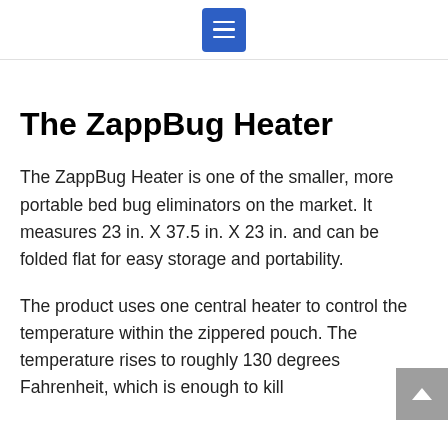[Menu button]
The ZappBug Heater
The ZappBug Heater is one of the smaller, more portable bed bug eliminators on the market. It measures 23 in. X 37.5 in. X 23 in. and can be folded flat for easy storage and portability.
The product uses one central heater to control the temperature within the zippered pouch. The temperature rises to roughly 130 degrees Fahrenheit, which is enough to kill